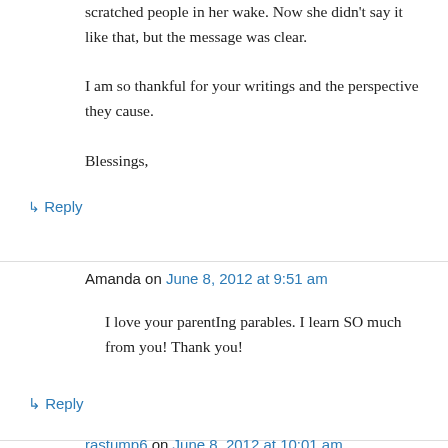scratched people in her wake. Now she didn't say it like that, but the message was clear.

I am so thankful for your writings and the perspective they cause.

Blessings,
↳ Reply
Amanda on June 8, 2012 at 9:51 am
I love your parentIng parables. I learn SO much from you! Thank you!
↳ Reply
rastump6 on June 8, 2012 at 10:01 am